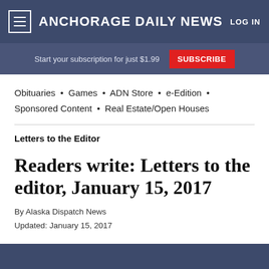ANCHORAGE DAILY NEWS
Start your subscription for just $1.99  SUBSCRIBE
Obituaries • Games • ADN Store • e-Edition • Sponsored Content • Real Estate/Open Houses
Letters to the Editor
Readers write: Letters to the editor, January 15, 2017
By Alaska Dispatch News
Updated: January 15, 2017